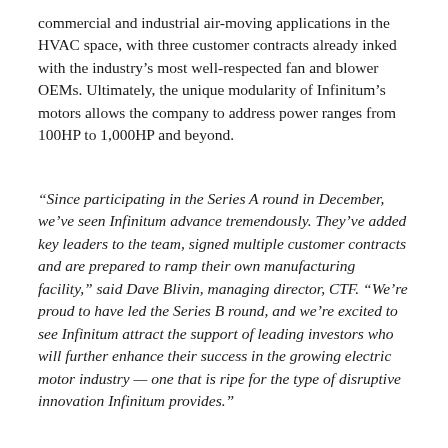commercial and industrial air-moving applications in the HVAC space, with three customer contracts already inked with the industry’s most well-respected fan and blower OEMs. Ultimately, the unique modularity of Infinitum’s motors allows the company to address power ranges from 100HP to 1,000HP and beyond.
“Since participating in the Series A round in December, we’ve seen Infinitum advance tremendously. They’ve added key leaders to the team, signed multiple customer contracts and are prepared to ramp their own manufacturing facility,” said Dave Blivin, managing director, CTF. “We’re proud to have led the Series B round, and we’re excited to see Infinitum attract the support of leading investors who will further enhance their success in the growing electric motor industry — one that is ripe for the type of disruptive innovation Infinitum provides.”